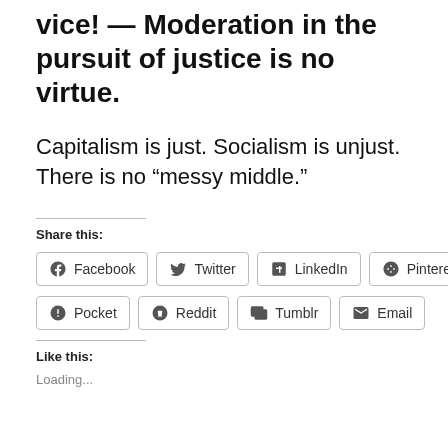vice! — Moderation in the pursuit of justice is no virtue.
Capitalism is just. Socialism is unjust. There is no “messy middle.”
Share this:
[Figure (other): Social share buttons: Facebook, Twitter, LinkedIn, Pinterest, Pocket, Reddit, Tumblr, Email]
Like this:
Loading...